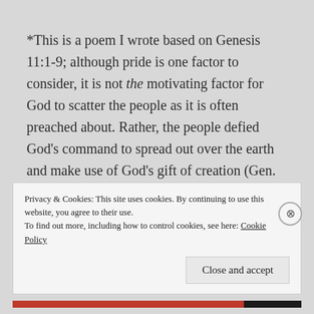*This is a poem I wrote based on Genesis 11:1-9; although pride is one factor to consider, it is not the motivating factor for God to scatter the people as it is often preached about. Rather, the people defied God's command to spread out over the earth and make use of God's gift of creation (Gen. 1:28, 9:1,7). Moreover, God had already seen the evil that occurred in sinful hearts opposed to God; it got so bad, in fact, that God wiped the earth clean with a flood and simply started over with Noah and his
Privacy & Cookies: This site uses cookies. By continuing to use this website, you agree to their use.
To find out more, including how to control cookies, see here: Cookie Policy
Close and accept